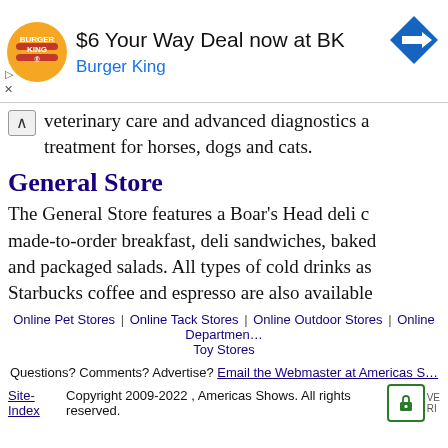[Figure (other): Burger King advertisement banner: BK logo, text '$6 Your Way Deal now at BK', 'Burger King', and a blue direction sign icon]
veterinary care and advanced diagnostics and treatment for horses, dogs and cats.
General Store
The General Store features a Boar's Head deli counter, made-to-order breakfast, deli sandwiches, baked goods and packaged salads. All types of cold drinks as well as Starbucks coffee and espresso are also available.
Online Pet Stores | Online Tack Stores | Online Outdoor Stores | Online Department... Toy Stores
Questions? Comments? Advertise? Email the Webmaster at Americas S...
Site-Index Copyright 2009-2022 , Americas Shows. All rights reserved.